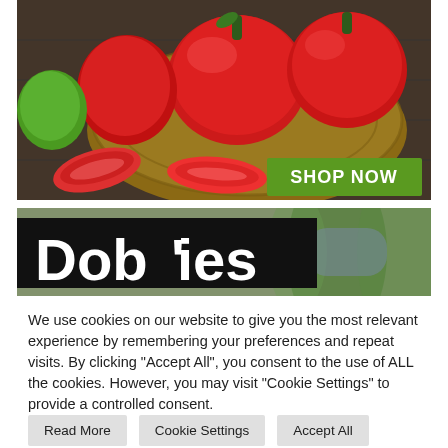[Figure (photo): Basket of red bell peppers with sliced peppers around it on a dark wooden surface, with a green 'SHOP NOW' button overlay in the lower right]
[Figure (logo): Dobies logo text in bold black and white, partially visible second image with blurred garden/plant background]
We use cookies on our website to give you the most relevant experience by remembering your preferences and repeat visits. By clicking "Accept All", you consent to the use of ALL the cookies. However, you may visit "Cookie Settings" to provide a controlled consent.
Read More
Cookie Settings
Accept All